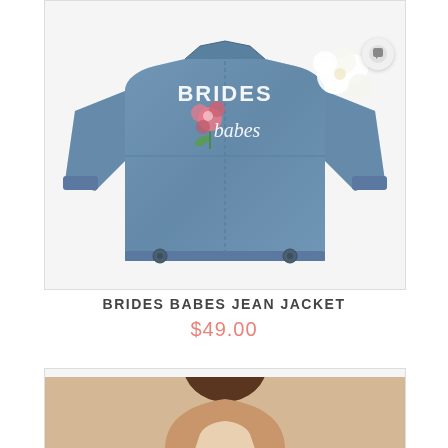[Figure (photo): A denim jean jacket laid flat on a white surface showing the back with 'BRIDES babes' text and a pink floral design, with white flowers decorating the right shoulder area.]
BRIDES BABES JEAN JACKET
$49.00
[Figure (photo): Partial photo of a person, cropped at the bottom of the page showing the top of a head and shoulders.]